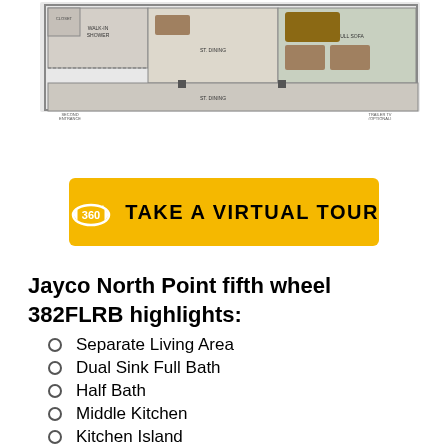[Figure (engineering-diagram): Floor plan diagram of the Jayco North Point fifth wheel 382FLRB showing room layout with labeled areas including bedroom, living area, kitchen, and bathrooms]
[Figure (other): Yellow button with 360 degree icon and text 'TAKE A VIRTUAL TOUR']
Jayco North Point fifth wheel 382FLRB highlights:
Separate Living Area
Dual Sink Full Bath
Half Bath
Middle Kitchen
Kitchen Island
Outside Kitchen